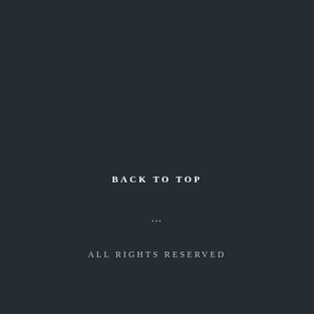BACK TO TOP
...
ALL RIGHTS RESERVED